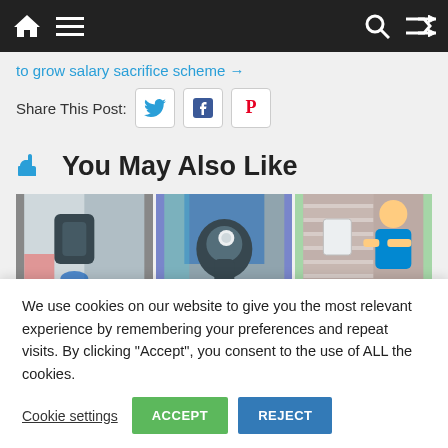Navigation bar with home, menu, search, and shuffle icons
to grow salary sacrifice scheme →
Share This Post:
👍 You May Also Like
[Figure (photo): Three photos side by side: EV charging port on a white vehicle, person holding an EV charging gun, technician installing a wall charger on a brick wall]
We use cookies on our website to give you the most relevant experience by remembering your preferences and repeat visits. By clicking "Accept", you consent to the use of ALL the cookies.
Cookie settings  ACCEPT  REJECT